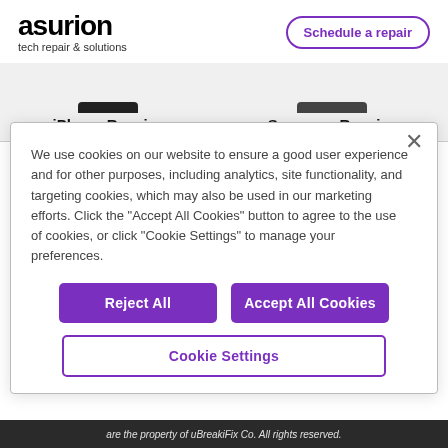[Figure (logo): Asurion logo with text 'asurion' in bold and 'tech repair & solutions' below]
Schedule a repair
iPhone Repair >
Samsung Repair >
We use cookies on our website to ensure a good user experience and for other purposes, including analytics, site functionality, and targeting cookies, which may also be used in our marketing efforts. Click the "Accept All Cookies" button to agree to the use of cookies, or click "Cookie Settings" to manage your preferences.
Reject All
Accept All Cookies
Cookie Settings
are the property of uBreakiFix Co. All rights reserved.